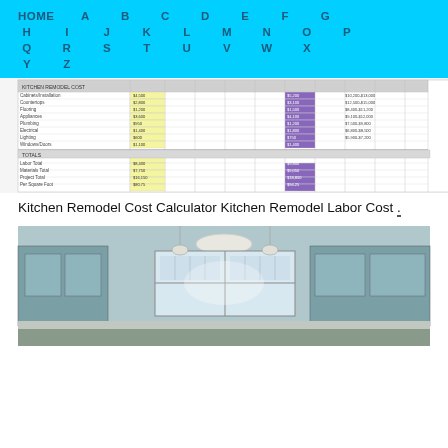HOME A B C D E F G H I J K L M N O P Q R S T U V W X Y Z
[Figure (screenshot): Screenshot of a kitchen remodel cost calculator spreadsheet with columns and colored cells (yellow and purple).]
Kitchen Remodel Cost Calculator Kitchen Remodel Labor Cost .
[Figure (photo): Photo of a kitchen interior with teal/gray cabinets, windows, and pendant lighting.]